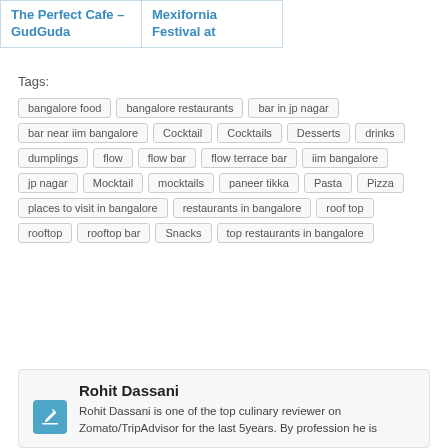The Perfect Cafe – GudGuda
Mexifornia Festival at
Tags: bangalore food  bangalore restaurants  bar in jp nagar  bar near iim bangalore  Cocktail  Cocktails  Desserts  drinks  dumplings  flow  flow bar  flow terrace bar  iim bangalore  jp nagar  Mocktail  mocktails  paneer tikka  Pasta  Pizza  places to visit in bangalore  restaurants in bangalore  roof top  rooftop  rooftop bar  Snacks  top restaurants in bangalore
Rohit Dassani
Rohit Dassani is one of the top culinary reviewer on Zomato/TripAdvisor for the last 5years. By profession he is